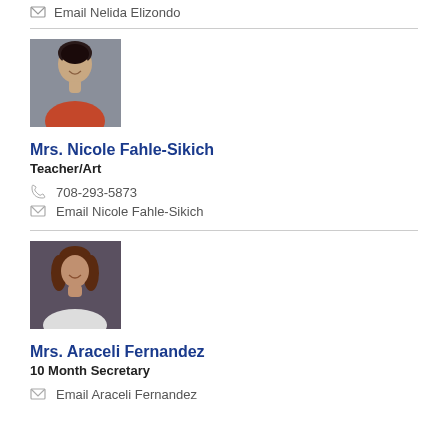Email Nelida Elizondo
[Figure (photo): Portrait photo of Mrs. Nicole Fahle-Sikich, a woman with dark hair, smiling against a gray background.]
Mrs. Nicole Fahle-Sikich
Teacher/Art
708-293-5873
Email Nicole Fahle-Sikich
[Figure (photo): Portrait photo of Mrs. Araceli Fernandez, a woman with shoulder-length brown hair, smiling against a gray/dark background.]
Mrs. Araceli Fernandez
10 Month Secretary
Email Araceli Fernandez